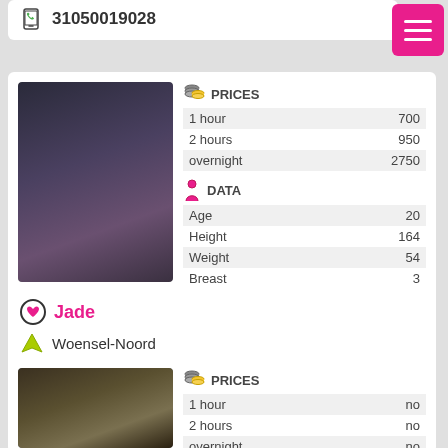31050019028
[Figure (photo): Woman in black lingerie posing on a sofa holding green feather boa, wearing high heels]
|  | PRICES |  |
| --- | --- | --- |
| 1 hour | 700 |
| 2 hours | 950 |
| overnight | 2750 |
|  | DATA |  |
| --- | --- | --- |
| Age | 20 |
| Height | 164 |
| Weight | 54 |
| Breast | 3 |
Jade
Woensel-Noord
310850656321
[Figure (photo): Blonde woman partial photo, low lighting]
|  | PRICES |  |
| --- | --- | --- |
| 1 hour | no |
| 2 hours | no |
| overnight | no |